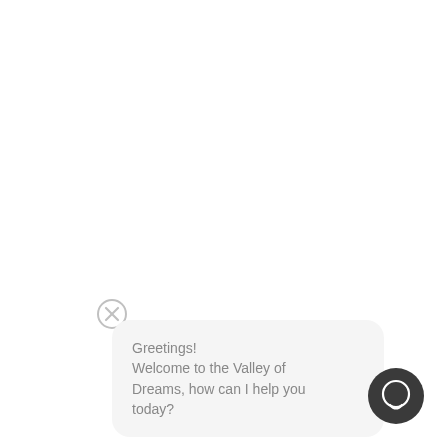[Figure (illustration): Close/dismiss button: a circle with an X inside, light gray outline style]
Greetings!
Welcome to the Valley of Dreams, how can I help you today?
[Figure (illustration): Chat icon button: dark charcoal circle with a white speech bubble / chat icon inside]